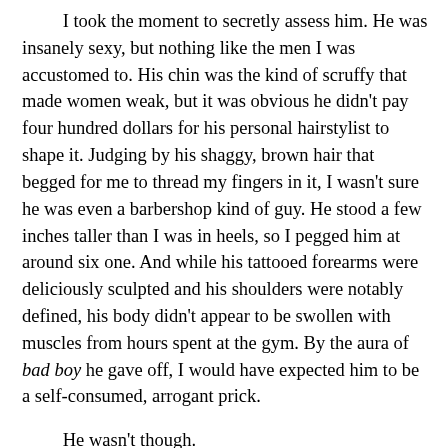I took the moment to secretly assess him. He was insanely sexy, but nothing like the men I was accustomed to. His chin was the kind of scruffy that made women weak, but it was obvious he didn't pay four hundred dollars for his personal hairstylist to shape it. Judging by his shaggy, brown hair that begged for me to thread my fingers in it, I wasn't sure he was even a barbershop kind of guy. He stood a few inches taller than I was in heels, so I pegged him at around six one. And while his tattooed forearms were deliciously sculpted and his shoulders were notably defined, his body didn't appear to be swollen with muscles from hours spent at the gym. By the aura of bad boy he gave off, I would have expected him to be a self-consumed, arrogant prick.
He wasn't though.
He was just an average guy worrying about the well-being of an average girl.
Only he couldn't have been more wrong, and a